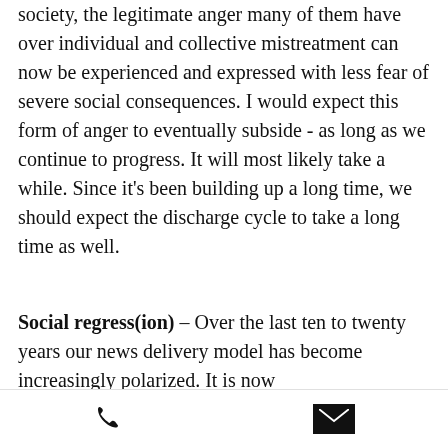society, the legitimate anger many of them have over individual and collective mistreatment can now be experienced and expressed with less fear of severe social consequences. I would expect this form of anger to eventually subside - as long as we continue to progress. It will most likely take a while. Since it's been building up a long time, we should expect the discharge cycle to take a long time as well.
Social regress(ion) – Over the last ten to twenty years our news delivery model has become increasingly polarized. It is now
[Figure (other): Footer bar with phone icon on the left and email envelope icon on the right]